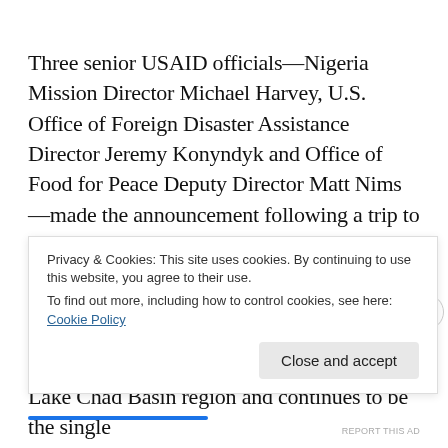Three senior USAID officials—Nigeria Mission Director Michael Harvey, U.S. Office of Foreign Disaster Assistance Director Jeremy Konyndyk and Office of Food for Peace Deputy Director Matt Nims—made the announcement following a trip to the country's northeast, where the humanitarian needs are the most acute. With this announcement, the United States is providing more than $318 million in humanitarian assistance since FY 2015 to the Lake Chad Basin region and continues to be the single l a c
Privacy & Cookies: This site uses cookies. By continuing to use this website, you agree to their use.
To find out more, including how to control cookies, see here:
Cookie Policy
[Close and accept]